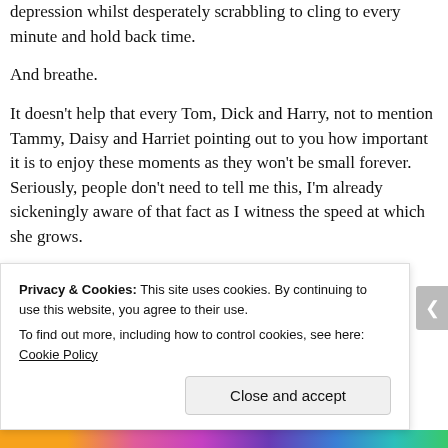depression whilst desperately scrabbling to cling to every minute and hold back time.
And breathe.
It doesn't help that every Tom, Dick and Harry, not to mention Tammy, Daisy and Harriet pointing out to you how important it is to enjoy these moments as they won't be small forever. Seriously, people don't need to tell me this, I'm already sickeningly aware of that fact as I witness the speed at which she grows.
Privacy & Cookies: This site uses cookies. By continuing to use this website, you agree to their use. To find out more, including how to control cookies, see here: Cookie Policy